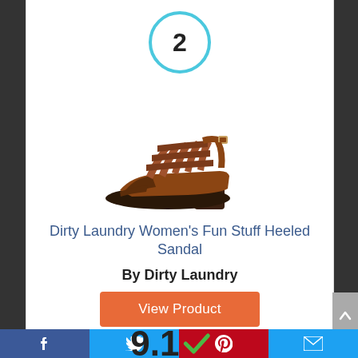[Figure (other): Rank number 2 inside a cyan circle border]
[Figure (photo): Brown strappy heeled gladiator sandal product photo]
Dirty Laundry Women’s Fun Stuff Heeled Sandal
By Dirty Laundry
View Product
9.1
Facebook | Twitter | Pinterest | Email